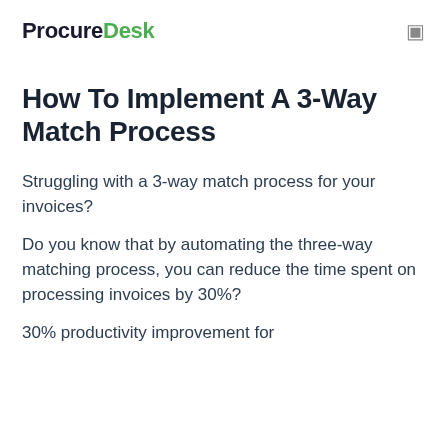ProcureDesk
How To Implement A 3-Way Match Process
Struggling with a 3-way match process for your invoices?
Do you know that by automating the three-way matching process, you can reduce the time spent on processing invoices by 30%?
30% productivity improvement for